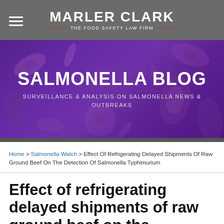MARLER CLARK — THE FOOD SAFETY LAW FIRM
[Figure (illustration): Salmonella Blog banner with purple bacteria microscopy background. Title: SALMONELLA BLOG. Subtitle: SURVEILLANCE & ANALYSIS ON SALMONELLA NEWS & OUTBREAKS]
Home > Salmonella Watch > Effect Of Refrigerating Delayed Shipments Of Raw Ground Beef On The Detection Of Salmonella Typhimurium
Effect of refrigerating delayed shipments of raw ground beef on the detection